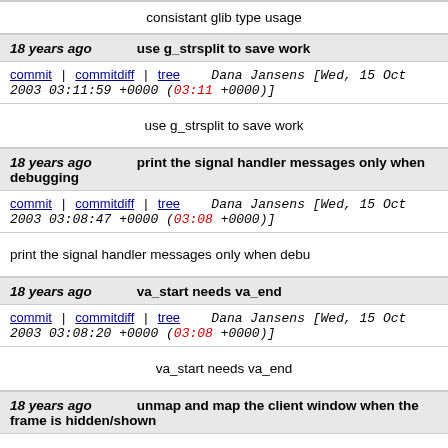consistant glib type usage
18 years ago   use g_strsplit to save work
commit | commitdiff | tree   Dana Jansens [Wed, 15 Oct 2003 03:11:59 +0000 (03:11 +0000)]
use g_strsplit to save work
18 years ago   print the signal handler messages only when debugging
commit | commitdiff | tree   Dana Jansens [Wed, 15 Oct 2003 03:08:47 +0000 (03:08 +0000)]
print the signal handler messages only when debu
18 years ago   va_start needs va_end
commit | commitdiff | tree   Dana Jansens [Wed, 15 Oct 2003 03:08:20 +0000 (03:08 +0000)]
va_start needs va_end
18 years ago   unmap and map the client window when the frame is hidden/shown